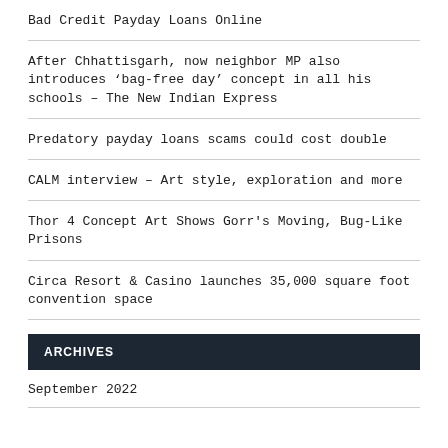Bad Credit Payday Loans Online
After Chhattisgarh, now neighbor MP also introduces ‘bag-free day’ concept in all his schools – The New Indian Express
Predatory payday loans scams could cost double
CALM interview – Art style, exploration and more
Thor 4 Concept Art Shows Gorr's Moving, Bug-Like Prisons
Circa Resort & Casino launches 35,000 square foot convention space
ARCHIVES
September 2022